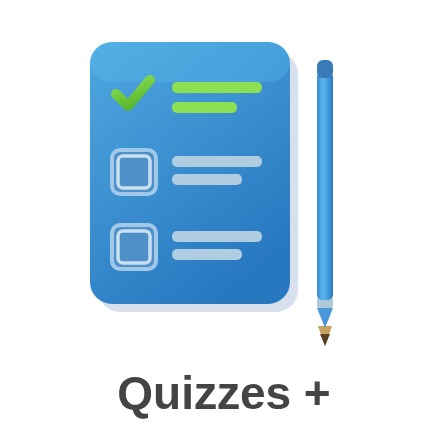[Figure (illustration): 3D illustration of a blue checklist/clipboard with a green checkmark and two unchecked checkboxes with gray lines, and a blue pencil standing vertically to the right]
Quizzes +